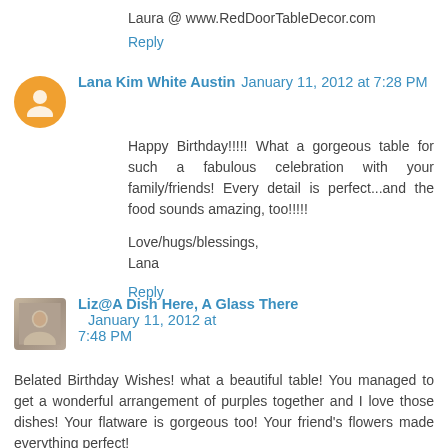Laura @ www.RedDoorTableDecor.com
Reply
Lana Kim White Austin  January 11, 2012 at 7:28 PM
Happy Birthday!!!!! What a gorgeous table for such a fabulous celebration with your family/friends! Every detail is perfect...and the food sounds amazing, too!!!!!

Love/hugs/blessings,
Lana
Reply
Liz@A Dish Here, A Glass There  January 11, 2012 at 7:48 PM
Belated Birthday Wishes! what a beautiful table! You managed to get a wonderful arrangement of purples together and I love those dishes! Your flatware is gorgeous too! Your friend's flowers made everything perfect!